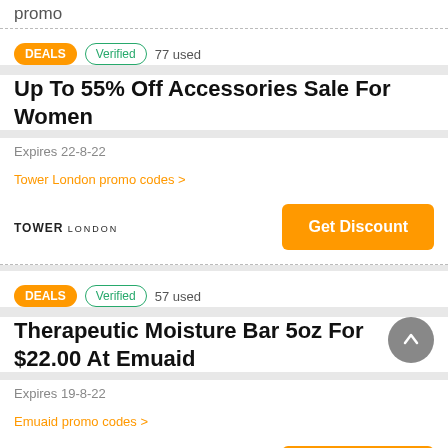promo
DEALS  Verified  77 used
Up To 55% Off Accessories Sale For Women
Expires 22-8-22
Tower London promo codes >
[Figure (logo): TOWER LONDON brand logo text]
Get Discount
DEALS  Verified  57 used
Therapeutic Moisture Bar 5oz For $22.00 At Emuaid
Expires 19-8-22
Emuaid promo codes >
[Figure (logo): emuaid brand logo]
Get Discount